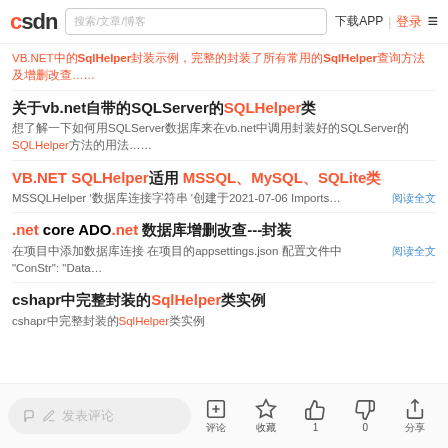CSDN  搜索/文章/博客  下载APP | 登录 ≡
VB.NET中的SqlHelper封装示例,完整的封装了所有常用的SqlHelper查询方法及增删改查...
关于vb.net自带的SQLServer的SQLHelper类
想了解一下如何用SQLServer数据库来在vb.net中调用封装好的SQLServer的SQLHelper方法的用法...
VB.NET SQLHelper适用 MSSQL、MySQL、SQLite类
MSSQLHelper '数据库连接字符串 '创建于2021-07-06 Imports…  阅读全文
.net core ADO.net 数据库增删改查---封装
在项目中添加数据库连接 在项目的appsettings.json 配置文件中 "ConStr": "Data…  阅读全文
cshapr中完整封装的SqlHelper类实例
cshapr中完整封装的SqlHelper类实例
发表评论  评论  收藏  点赞 1  踩 0  分享